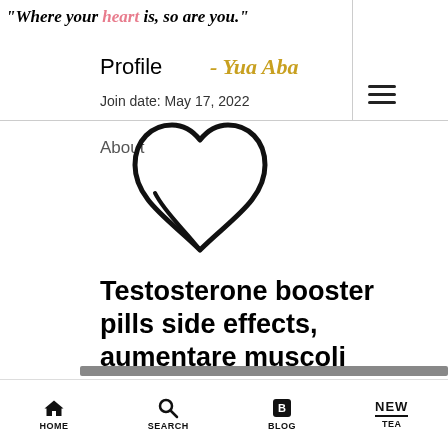"Where your heart is, so are you." - Yua Aba
Profile
Join date: May 17, 2022
About
[Figure (illustration): A hand-drawn style heart symbol in black]
Testosterone booster pills side effects, aumentare muscoli steroidi
Testosterone booster pills side effects, aumentare muscoli steroidi - Acquista steroidi anabolizzanti legali
HOME  SEARCH  BLOG  TEA